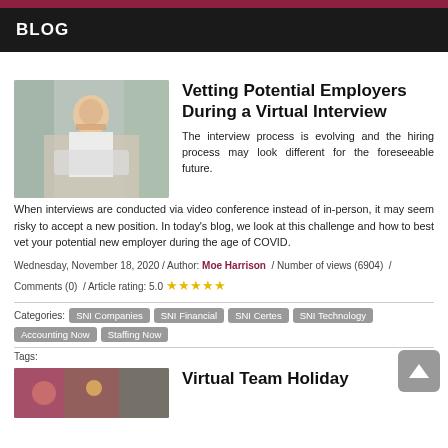BLOG
[Figure (photo): Woman in white blouse smiling at laptop in bright office setting]
Vetting Potential Employers During a Virtual Interview
The interview process is evolving and the hiring process may look different for the foreseeable future. When interviews are conducted via video conference instead of in-person, it may seem risky to accept a new position. In today's blog, we look at this challenge and how to best vet your potential new employer during the age of COVID.
Wednesday, November 18, 2020 / Author: Moe Harrison / Number of views (6904) / Comments (0) / Article rating: 5.0 ★★★★★
Categories: SNI Companies  SNI Financial  SNI Certes  SNI Technology  Accounting Now  Staffing Now
Tags:
[Figure (photo): Colorful holiday themed image for Virtual Team Holiday article]
Virtual Team Holiday